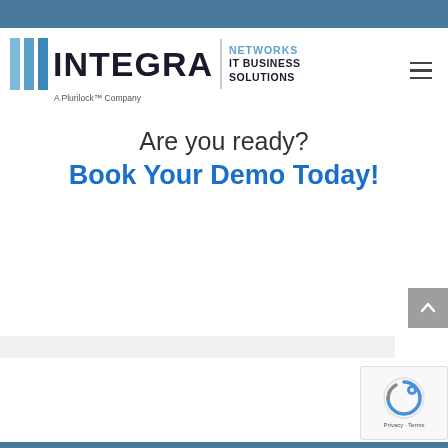[Figure (logo): Integra Networks IT Business Solutions - A Plurilock Company logo with blue vertical bars and company name]
Are you ready?
Book Your Demo Today!
[Figure (other): reCAPTCHA badge with Privacy and Terms links]